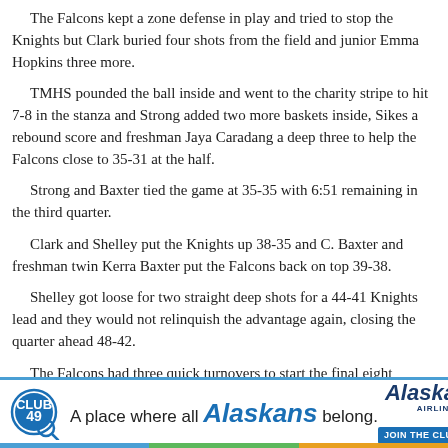The Falcons kept a zone defense in play and tried to stop the Knights but Clark buried four shots from the field and junior Emma Hopkins three more.
TMHS pounded the ball inside and went to the charity stripe to hit 7-8 in the stanza and Strong added two more baskets inside, Sikes a rebound score and freshman Jaya Caradang a deep three to help the Falcons close to 35-31 at the half.
Strong and Baxter tied the game at 35-35 with 6:51 remaining in the third quarter.
Clark and Shelley put the Knights up 38-35 and C. Baxter and freshman twin Kerra Baxter put the Falcons back on top 39-38.
Shelley got loose for two straight deep shots for a 44-41 Knights lead and they would not relinquish the advantage again, closing the quarter ahead 48-42.
The Falcons had three quick turnovers to start the final eight minutes as the Knights increased their full court pressure and jumped out to a
[Figure (infographic): Alaska Airlines Club 49 advertisement. Logo on left showing '49' in a circle with magnifying glass. Text reads 'A place where all Alaskans belong.' Alaska Airlines logo on right with 'JOIN THE CLUB' button.]